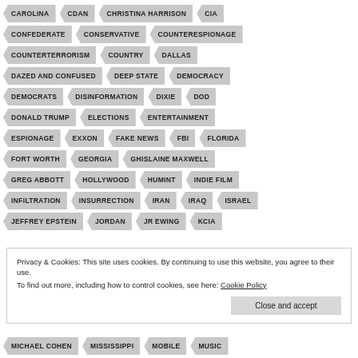CAROLINA
CDAN
CHRISTINA HARRISON
CIA
CONFEDERATE
CONSERVATIVE
COUNTERESPIONAGE
COUNTERTERRORISM
COUNTRY
DALLAS
DAZED AND CONFUSED
DEEP STATE
DEMOCRACY
DEMOCRATS
DISINFORMATION
DIXIE
DOD
DONALD TRUMP
ELECTIONS
ENTERTAINMENT
ESPIONAGE
EXXON
FAKE NEWS
FBI
FLORIDA
FORT WORTH
GEORGIA
GHISLAINE MAXWELL
GREG ABBOTT
HOLLYWOOD
HUMINT
INDIE FILM
INFILTRATION
INSURRECTION
IRAN
IRAQ
ISRAEL
JEFFREY EPSTEIN
JORDAN
JR EWING
KCIA
Privacy & Cookies: This site uses cookies. By continuing to use this website, you agree to their use.
To find out more, including how to control cookies, see here: Cookie Policy
MICHAEL COHEN
MISSISSIPPI
MOBILE
MUSIC